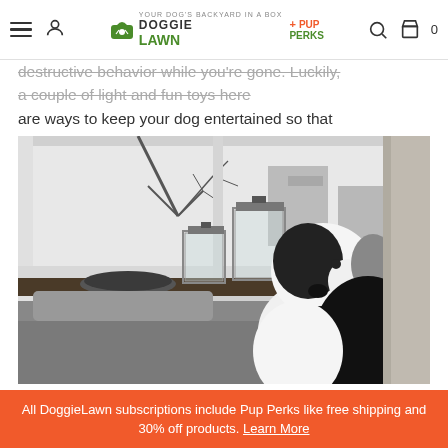DoggieLawn + Pup Perks navigation bar
destructive behavior while you're gone. Luckily, a couple of light and fun toys here are ways to keep your dog entertained so that they don't become bored, depressed, or anxious.
[Figure (photo): Black and white photo of a dog sitting on a couch looking out a window, with glass lanterns on a dark wooden windowsill]
All DoggieLawn subscriptions include Pup Perks like free shipping and 30% off products. Learn More